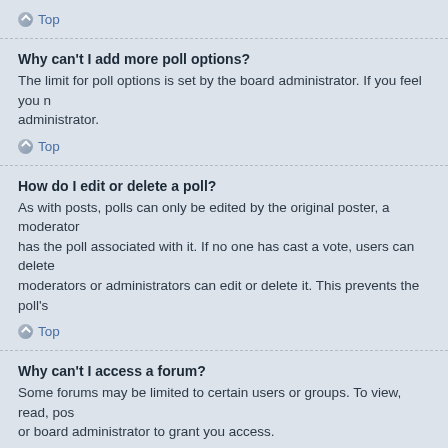Top
Why can't I add more poll options?
The limit for poll options is set by the board administrator. If you feel you need more options contact the administrator.
Top
How do I edit or delete a poll?
As with posts, polls can only be edited by the original poster, a moderator or an administrator. To edit a poll, click to edit the first post in the topic; this always has the poll associated with it. If no one has cast a vote, users can delete the poll or edit any poll option. However, if members have already placed votes, only moderators or administrators can edit or delete it. This prevents the poll's options from being changed mid-way through a poll.
Top
Why can't I access a forum?
Some forums may be limited to certain users or groups. To view, read, post or perform another action you may need special permissions. Contact a moderator or board administrator to grant you access.
Top
Why can't I add attachments?
Attachment permissions are granted on a per forum, per group, or per user basis. The board administrator may not have allowed attachments to be added for the specific forum you are posting in, or perhaps only certain groups can post attachments. Contact the board administrator if you are unsure about why you are unable to add attachments.
Top